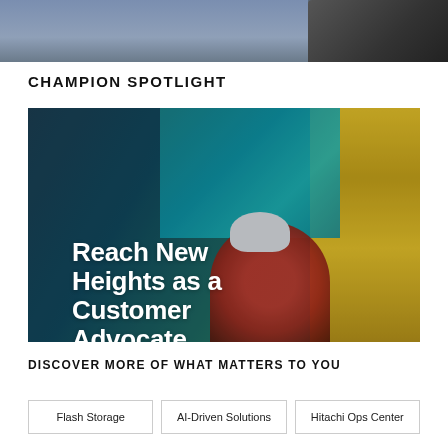[Figure (photo): Top portion of an outdoor coastal/rocky landscape photo, cropped, showing dark rocks and grey-blue sky.]
CHAMPION SPOTLIGHT
[Figure (photo): A worker in red jacket and white hard hat climbing a yellow industrial structure (offshore platform railing) with teal ocean water and dark teal/blue equipment in the background. Overlaid bold white text reads: Reach New Heights as a Customer Advocate.]
DISCOVER MORE OF WHAT MATTERS TO YOU
Flash Storage
AI-Driven Solutions
Hitachi Ops Center